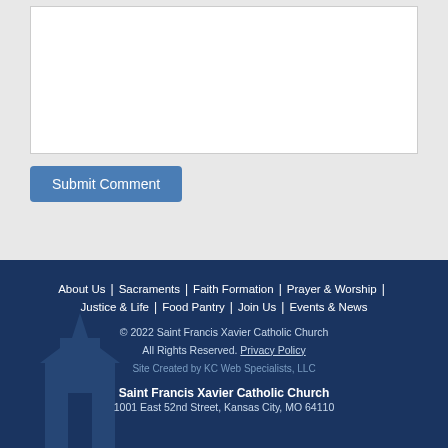[Figure (screenshot): A textarea input box (empty, white background with border) for submitting a comment]
Submit Comment
About Us | Sacraments | Faith Formation | Prayer & Worship | Justice & Life | Food Pantry | Join Us | Events & News
© 2022 Saint Francis Xavier Catholic Church
All Rights Reserved. Privacy Policy
Site Created by KC Web Specialists, LLC
Saint Francis Xavier Catholic Church
1001 East 52nd Street, Kansas City, MO 64110